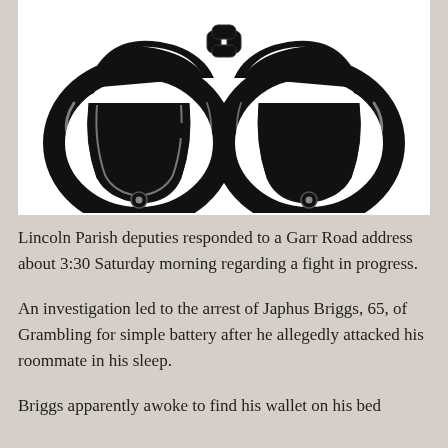[Figure (illustration): Black silhouette illustration of a pair of handcuffs on a white background.]
Lincoln Parish deputies responded to a Garr Road address about 3:30 Saturday morning regarding a fight in progress.
An investigation led to the arrest of Japhus Briggs, 65, of Grambling for simple battery after he allegedly attacked his roommate in his sleep.
Briggs apparently awoke to find his wallet on his bed